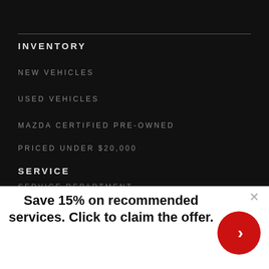INVENTORY
NEW VEHICLES
USED VEHICLES
MAZDA CERTIFIED PRE-OWNED
PRICED UNDER $20,000
SERVICE
SERVICE DEPARTMENT
Save 15% on recommended services. Click to claim the offer.